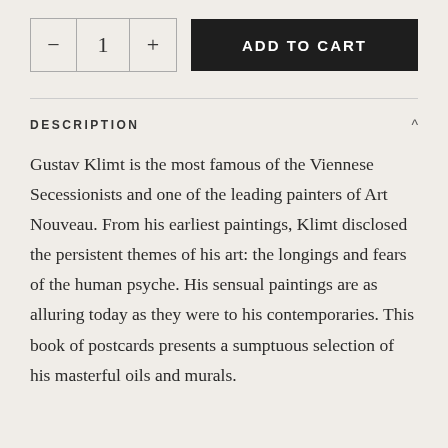DESCRIPTION
Gustav Klimt is the most famous of the Viennese Secessionists and one of the leading painters of Art Nouveau. From his earliest paintings, Klimt disclosed the persistent themes of his art: the longings and fears of the human psyche. His sensual paintings are as alluring today as they were to his contemporaries. This book of postcards presents a sumptuous selection of his masterful oils and murals.